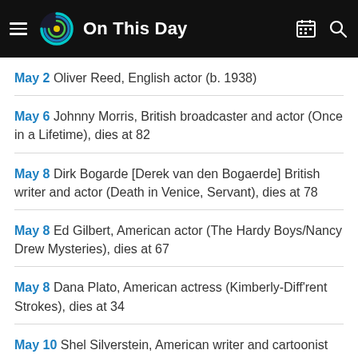On This Day
May 2 Oliver Reed, English actor (b. 1938)
May 6 Johnny Morris, British broadcaster and actor (Once in a Lifetime), dies at 82
May 8 Dirk Bogarde [Derek van den Bogaerde] British writer and actor (Death in Venice, Servant), dies at 78
May 8 Ed Gilbert, American actor (The Hardy Boys/Nancy Drew Mysteries), dies at 67
May 8 Dana Plato, American actress (Kimberly-Diff'rent Strokes), dies at 34
May 10 Shel Silverstein, American writer and cartoonist